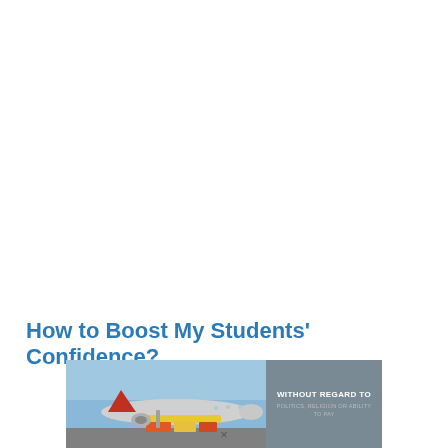[Continue Reading...]
How to Boost My Students' Confidence?
[Figure (photo): Advertisement banner showing cargo being loaded onto an airplane on a tarmac, with a gray panel on the right reading 'WITHOUT REGARD TO POLITICS, RELIGION OR ABILITY TO PAY']
×